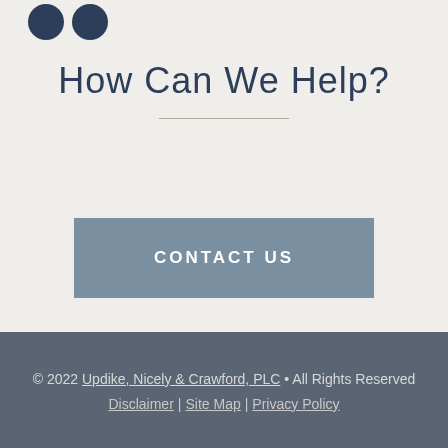[Figure (illustration): Two dark blue circular social media icon buttons in the top left corner]
How Can We Help?
CONTACT US
© 2022 Updike, Nicely & Crawford, PLC • All Rights Reserved
Disclaimer | Site Map | Privacy Policy